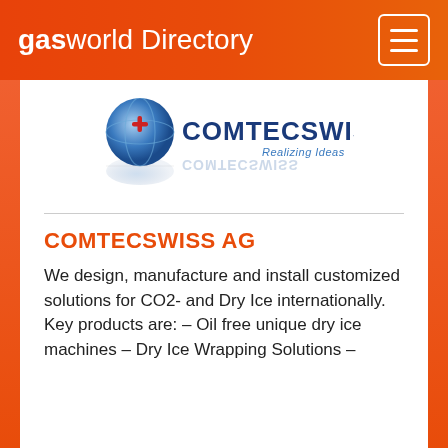gasworld Directory
[Figure (logo): COMTECSWISS logo with blue globe and 'Realizing Ideas' tagline]
COMTECSWISS AG
We design, manufacture and install customized solutions for CO2- and Dry Ice internationally. Key products are: – Oil free unique dry ice machines – Dry Ice Wrapping Solutions –